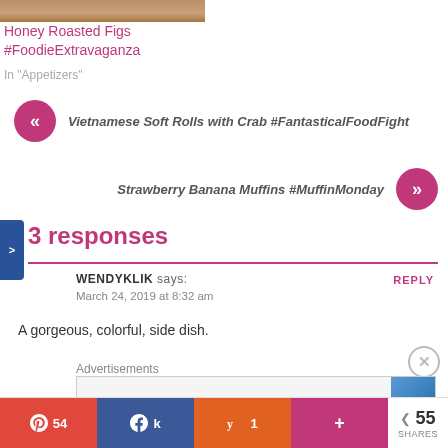[Figure (photo): Partial top image of a food dish (Honey Roasted Figs)]
Honey Roasted Figs #FoodieExtravaganza
In "Appetizers"
« Vietnamese Soft Rolls with Crab #FantasticalFoodFight
Strawberry Banana Muffins #MuffinMonday »
3 responses
WENDYKLIK says:
March 24, 2019 at 8:32 am
REPLY
A gorgeous, colorful, side dish.
Advertisements
54  55  1  +  55 SHARES